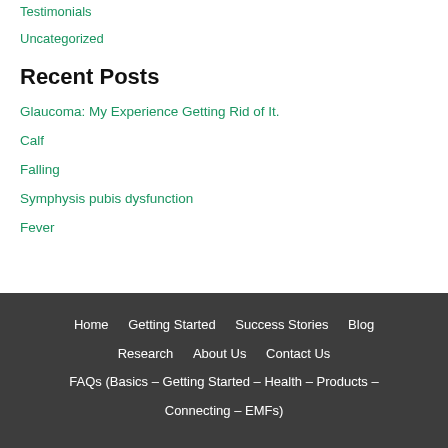Testimonials
Uncategorized
Recent Posts
Glaucoma: My Experience Getting Rid of It.
Calf
Falling
Symphysis pubis dysfunction
Fever
Home   Getting Started   Success Stories   Blog   Research   About Us   Contact Us   FAQs (Basics – Getting Started – Health – Products – Connecting – EMFs)